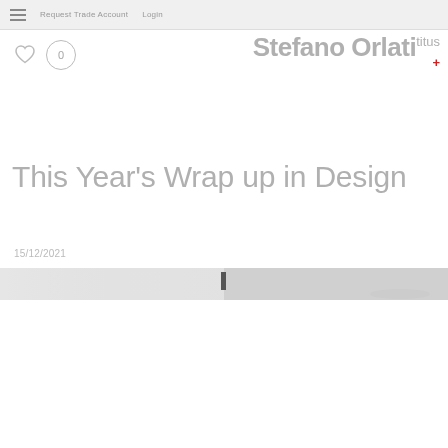Request Trade Account  Login
[Figure (logo): Stefano Orlati Titus+ logo in grey bold text with red plus sign]
This Year's Wrap up in Design
15/12/2021
[Figure (photo): Horizontal strip photo of what appears to be a mirror or reflective surface, split in the middle by a small dark element]